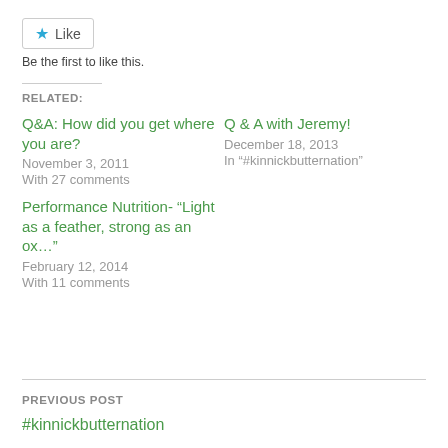Like
Be the first to like this.
RELATED:
Q&A: How did you get where you are?
November 3, 2011
With 27 comments
Q & A with Jeremy!
December 18, 2013
In "#kinnickbutternation"
Performance Nutrition- “Light as a feather, strong as an ox…”
February 12, 2014
With 11 comments
PREVIOUS POST
#kinnickbutternation